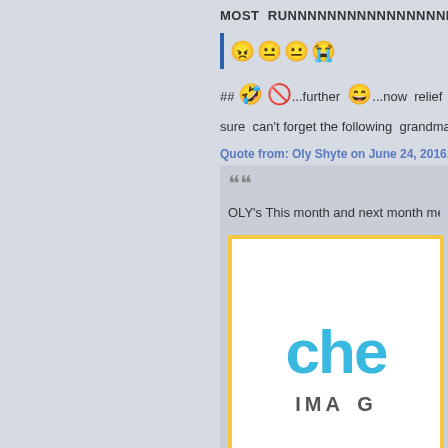MOST  RUNNNNNNNNNNNNNNNNNNNN...
| 😠 😐 😐 😭
## 🤣 🚫...further 😄...now  relief  edi
sure  can't forget the following  grandma C
Quote from: Oly Shyte on June 24, 2016, 05:48:4
❝❝
OLY's This month and next month menu 😐 😭
[Figure (other): Partial image showing blue 'che' text and 'IMAG' text below, with yellow border on white background]